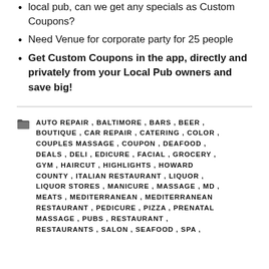local pub, can we get any specials as Custom Coupons?
Need Venue for corporate party for 25 people
Get Custom Coupons in the app, directly and privately from your Local Pub owners and save big!
AUTO REPAIR, BALTIMORE, BARS, BEER, BOUTIQUE, CAR REPAIR, CATERING, COLOR, COUPLES MASSAGE, COUPON, DEAFOOD, DEALS, DELI, EDICURE, FACIAL, GROCERY, GYM, HAIRCUT, HIGHLIGHTS, HOWARD COUNTY, ITALIAN RESTAURANT, LIQUOR, LIQUOR STORES, MANICURE, MASSAGE, MD, MEATS, MEDITERRANEAN, MEDITERRANEAN RESTAURANT, PEDICURE, PIZZA, PRENATAL MASSAGE, PUBS, RESTAURANT, RESTAURANTS, SALON, SEAFOOD, SPA,